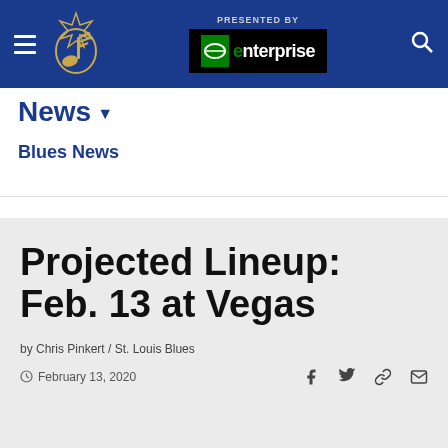St. Louis Blues – Presented by Enterprise
News ▼
Blues News
Projected Lineup: Feb. 13 at Vegas
by Chris Pinkert / St. Louis Blues
February 13, 2020